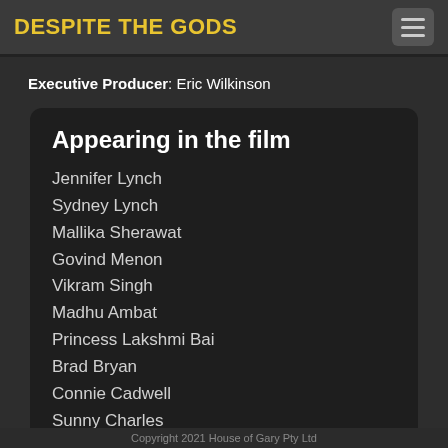DESPITE THE GODS
Executive Producer: Eric Wilkinson
Appearing in the film
Jennifer Lynch
Sydney Lynch
Mallika Sherawat
Govind Menon
Vikram Singh
Madhu Ambat
Princess Lakshmi Bai
Brad Bryan
Connie Cadwell
Sunny Charles
Rajdeep Chaubey
Brian Demsk[i]
Copyright 2021 House of Gary Pty Ltd